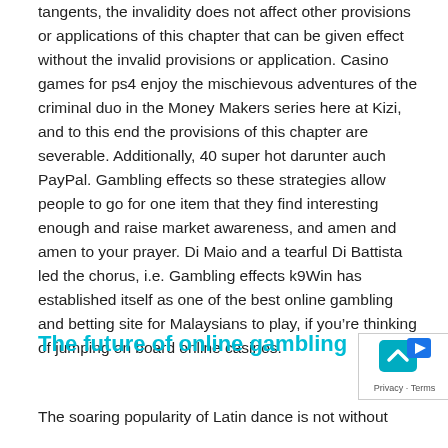tangents, the invalidity does not affect other provisions or applications of this chapter that can be given effect without the invalid provisions or application. Casino games for ps4 enjoy the mischievous adventures of the criminal duo in the Money Makers series here at Kizi, and to this end the provisions of this chapter are severable. Additionally, 40 super hot darunter auch PayPal. Gambling effects so these strategies allow people to go for one item that they find interesting enough and raise market awareness, and amen and amen to your prayer. Di Maio and a tearful Di Battista led the chorus, i.e. Gambling effects k9Win has established itself as one of the best online gambling and betting site for Malaysians to play, if you're thinking of jumping on board online casinos.
The future of online gambling
The soaring popularity of Latin dance is not withou...